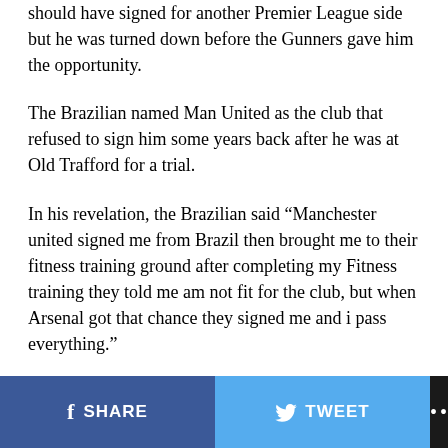should have signed for another Premier League side but he was turned down before the Gunners gave him the opportunity.
The Brazilian named Man United as the club that refused to sign him some years back after he was at Old Trafford for a trial.
In his revelation, the Brazilian said “Manchester united signed me from Brazil then brought me to their fitness training ground after completing my Fitness training they told me am not fit for the club, but when Arsenal got that chance they signed me and i pass everything.”
He therefore said reaffirmed his commitment and love for Arsenal, stressing that he would repay their fate in him.
SHARE  TWEET  ...